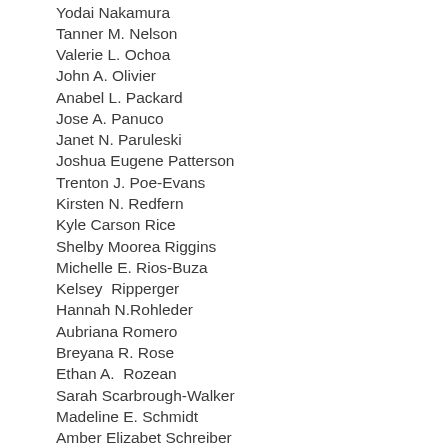Yodai Nakamura
Tanner M. Nelson
Valerie L. Ochoa
John A. Olivier
Anabel L. Packard
Jose A. Panuco
Janet N. Paruleski
Joshua Eugene Patterson
Trenton J. Poe-Evans
Kirsten N. Redfern
Kyle Carson Rice
Shelby Moorea Riggins
Michelle E. Rios-Buza
Kelsey  Ripperger
Hannah N.Rohleder
Aubriana Romero
Breyana R. Rose
Ethan A.  Rozean
Sarah Scarbrough-Walker
Madeline E. Schmidt
Amber Elizabet Schreiber
Zofia Anna Selwesiuk
Jessica M. Smith
Quinton S. Smith